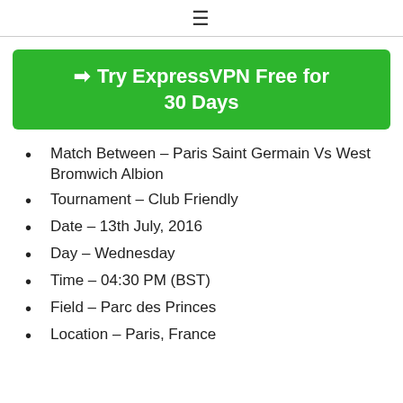≡
[Figure (other): Green banner button with arrow: Try ExpressVPN Free for 30 Days]
Match Between – Paris Saint Germain Vs West Bromwich Albion
Tournament – Club Friendly
Date – 13th July, 2016
Day – Wednesday
Time – 04:30 PM (BST)
Field – Parc des Princes
Location – Paris, France